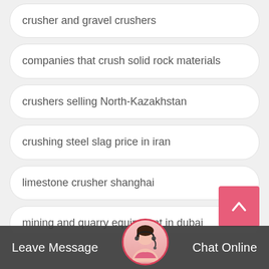crusher and gravel crushers
companies that crush solid rock materials
crushers selling North-Kazakhstan
crushing steel slag price in iran
limestone crusher shanghai
mining and quarry equipment in dubai
batu crusher conveyoring and
[Figure (photo): Customer support avatar with headset in circular crop with red border]
Leave Message
Chat Online